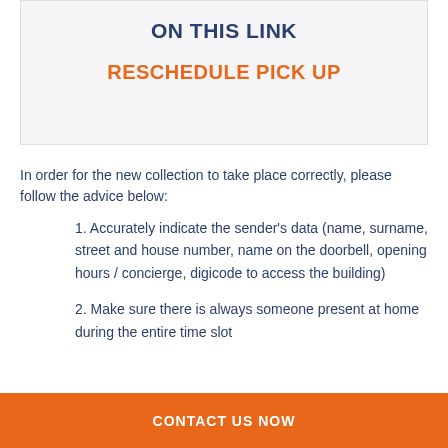ON THIS LINK
RESCHEDULE PICK UP
In order for the new collection to take place correctly, please follow the advice below:
1. Accurately indicate the sender's data (name, surname, street and house number, name on the doorbell, opening hours / concierge, digicode to access the building)
2. Make sure there is always someone present at home during the entire time slot
CONTACT US NOW